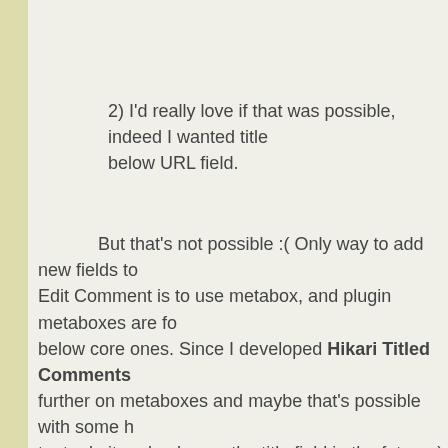2) I'd really love if that was possible, indeed I wanted title below URL field.
But that's not possible :( Only way to add new fields to Edit Comment is to use metabox, and plugin metaboxes are fo below core ones. Since I developed Hikari Titled Comments further on metaboxes and maybe that's possible with some h try to do it and enhance the title field in the future :)
Past months I was dedicated to develop plugins I neede month I was publishing some of them. I have a lot of enhanc